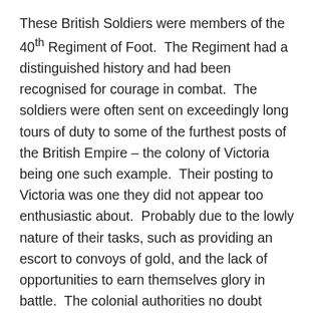These British Soldiers were members of the 40th Regiment of Foot.  The Regiment had a distinguished history and had been recognised for courage in combat.  The soldiers were often sent on exceedingly long tours of duty to some of the furthest posts of the British Empire – the colony of Victoria being one such example.  Their posting to Victoria was one they did not appear too enthusiastic about.  Probably due to the lowly nature of their tasks, such as providing an escort to convoys of gold, and the lack of opportunities to earn themselves glory in battle.  The colonial authorities no doubt valued their presence in the rather chaotic and turbulent years at the beginning of the gold rush, when the population was rising at a staggering rate and the police force was outnumbered and ill-equipped.  Then, when the civil unrest surrounding